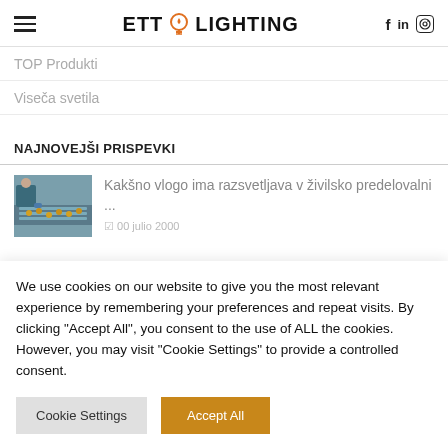ETT LIGHTING
TOP Produkti
Viseča svetila
NAJNOVEJŠI PRISPEVKI
[Figure (photo): Thumbnail photo of food processing line with worker in blue gloves]
Kakšno vlogo ima razsvetljava v živilsko predelovalni ...
We use cookies on our website to give you the most relevant experience by remembering your preferences and repeat visits. By clicking "Accept All", you consent to the use of ALL the cookies. However, you may visit "Cookie Settings" to provide a controlled consent.